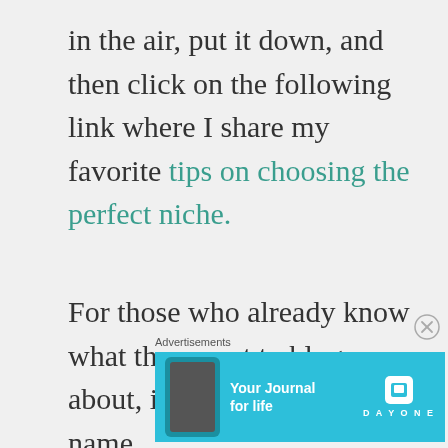in the air, put it down, and then click on the following link where I share my favorite tips on choosing the perfect niche.
For those who already know what they want to blog about, it's time to think of a name.
Advertisements
[Figure (other): Advertisement banner for Day One journal app with cyan background showing phone graphic and text 'Your Journal for life' with the Day One logo]